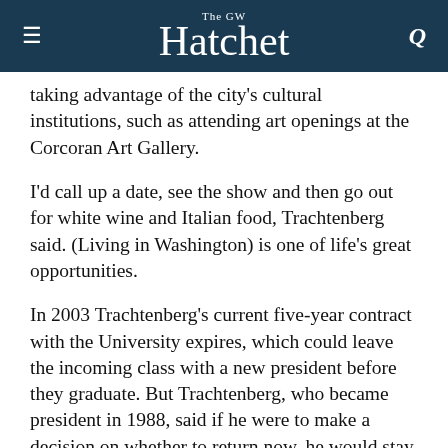The GW Hatchet
taking advantage of the city's cultural institutions, such as attending art openings at the Corcoran Art Gallery.
I'd call up a date, see the show and then go out for white wine and Italian food, Trachtenberg said. (Living in Washington) is one of life's great opportunities.
In 2003 Trachtenberg's current five-year contract with the University expires, which could leave the incoming class with a new president before they graduate. But Trachtenberg, who became president in 1988, said if he were to make a decision on whether to return now, he would stay on another five years.